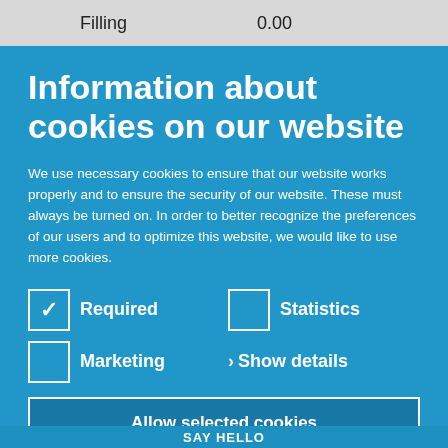Filling   0.00
Information about cookies on our website
We use necessary cookies to ensure that our website works properly and to ensure the security of our website. These must always be turned on. In order to better recognize the preferences of our users and to optimize this website, we would like to use more cookies.
Required (checked)
Statistics
Marketing
> Show details
Allow selected cookies
Allow all cookies
SAY HELLO